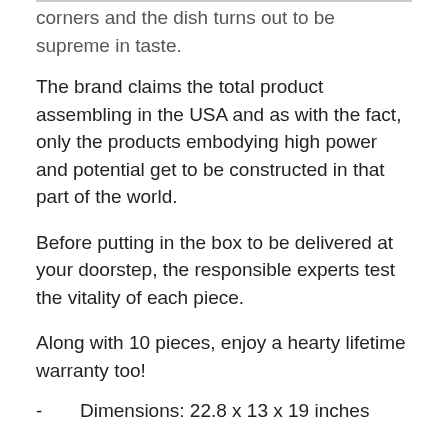corners and the dish turns out to be supreme in taste.
The brand claims the total product assembling in the USA and as with the fact, only the products embodying high power and potential get to be constructed in that part of the world.
Before putting in the box to be delivered at your doorstep, the responsible experts test the vitality of each piece.
Along with 10 pieces, enjoy a hearty lifetime warranty too!
Dimensions: 22.8 x 13 x 19 inches
Weight: 26 pounds
Open the Box and Get:
8" inches fry pan
10" inches fry pan
8 Quart sauce pan with lid